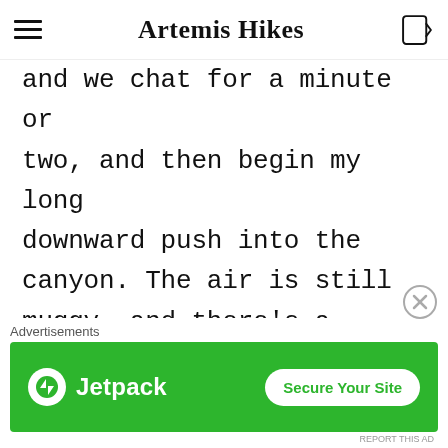Artemis Hikes
and we chat for a minute or two, and then begin my long downward push into the canyon. The air is still muggy, and there's a feeling of electricity lingering in the atmosphere.  I need to make it camp soon, somewhere below tree line in case of
[Figure (screenshot): Jetpack advertisement banner with green background, Jetpack logo on left and 'Secure Your Site' button on right]